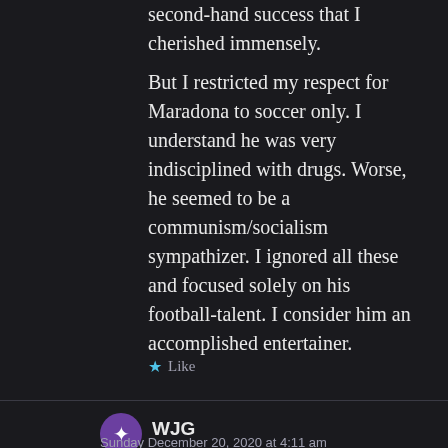second-hand success that I cherished immensely.
But I restricted my respect for Maradona to soccer only. I understand he was very indisciplined with drugs. Worse, he seemed to be a communism/socialism sympathizer. I ignored all these and focused solely on his football-talent. I consider him an accomplished entertainer.
★ Like
WJG
Sunday December 20, 2020 at 4:11 am